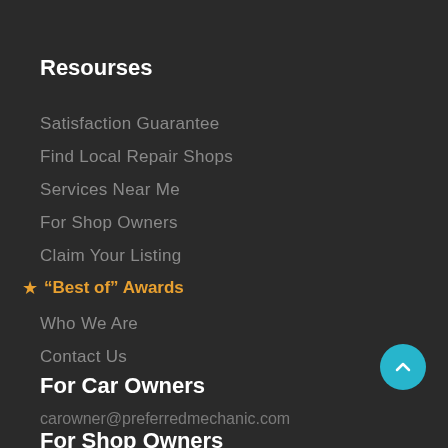Resourses
Satisfaction Guarantee
Find Local Repair Shops
Services Near Me
For Shop Owners
Claim Your Listing
★ “Best of” Awards
Who We Are
Contact Us
For Car Owners
carowner@preferredmechanic.com
For Shop Owners